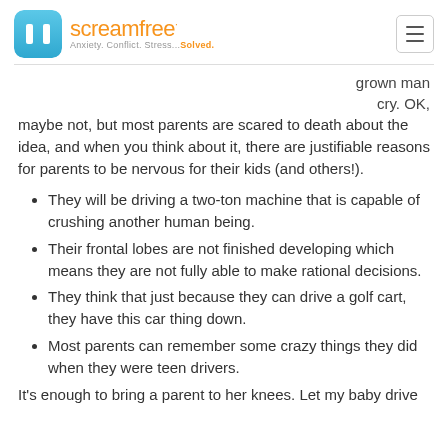screamfree Anxiety. Conflict. Stress...Solved.
grown man cry. OK, maybe not, but most parents are scared to death about the idea, and when you think about it, there are justifiable reasons for parents to be nervous for their kids (and others!).
They will be driving a two-ton machine that is capable of crushing another human being.
Their frontal lobes are not finished developing which means they are not fully able to make rational decisions.
They think that just because they can drive a golf cart, they have this car thing down.
Most parents can remember some crazy things they did when they were teen drivers.
It’s enough to bring a parent to her knees. Let my baby drive